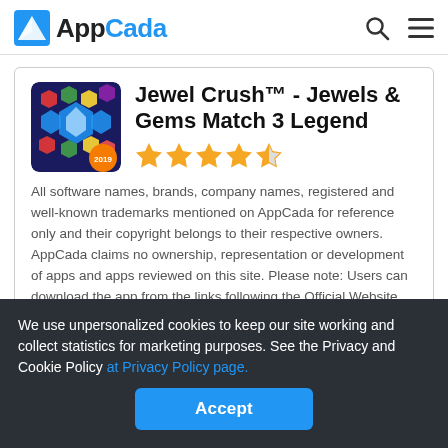AppCada
Jewel Crush™ - Jewels & Gems Match 3 Legend
All software names, brands, company names, registered and well-known trademarks mentioned on AppCada for reference only and their copyright belongs to their respective owners. AppCada claims no ownership, representation or development of apps and apps reviewed on this site. Please note: Users can download the app from the links following the Official Website and legal App Stores.
We use unpersonalized cookies to keep our site working and collect statistics for marketing purposes. See the Privacy and Cookie Policy at Privacy Policy page.